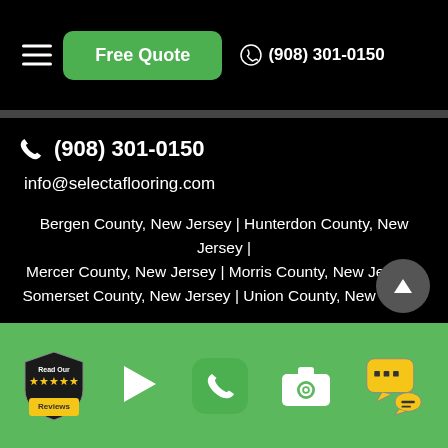Free Quote | (908) 301-0150
(908) 301-0150
info@selectaflooring.com
Bergen County, New Jersey | Hunterdon County, New Jersey | Mercer County, New Jersey | Morris County, New Jersey | Somerset County, New Jersey | Union County, New Jersey
[Figure (infographic): Green footer bar with: Read Our Reviews badge, play button, green phone icon, camera icon, and chat/SMS icon]
Read Our Reviews | (clickable icons for phone, camera, chat)